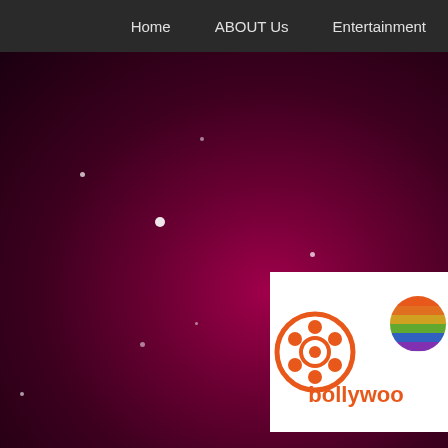Home   ABOUT Us   Entertainment
[Figure (screenshot): Bollywood entertainment website hero banner with dark maroon/purple background with sparkle lights and a white logo box showing an orange film reel icon and the word 'bollywood' in orange with a colorful striped circle icon]
Home   ABOUT Us   Entertainment
APR 9, 2019   Posted by admin | Comments Off
SDP SARA SWATIBAI DADASAHEB PHALKE AWARD 2019